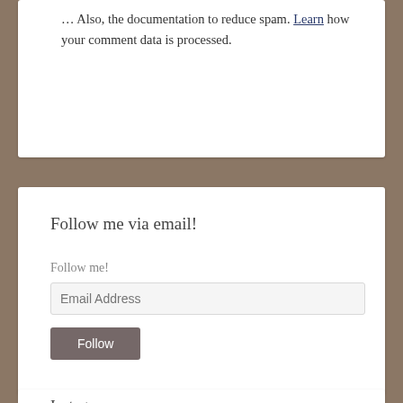... Learn how your comment data is processed.
Follow me via email!
Follow me!
[Figure (screenshot): Email Address input field with Follow button]
Instagram